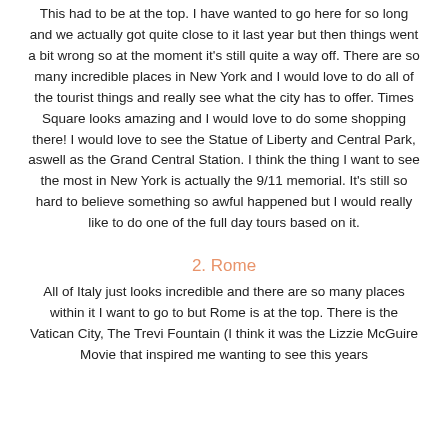This had to be at the top. I have wanted to go here for so long and we actually got quite close to it last year but then things went a bit wrong so at the moment it's still quite a way off. There are so many incredible places in New York and I would love to do all of the tourist things and really see what the city has to offer. Times Square looks amazing and I would love to do some shopping there! I would love to see the Statue of Liberty and Central Park, aswell as the Grand Central Station. I think the thing I want to see the most in New York is actually the 9/11 memorial. It's still so hard to believe something so awful happened but I would really like to do one of the full day tours based on it.
2. Rome
All of Italy just looks incredible and there are so many places within it I want to go to but Rome is at the top. There is the Vatican City, The Trevi Fountain (I think it was the Lizzie McGuire Movie that inspired me wanting to see this years